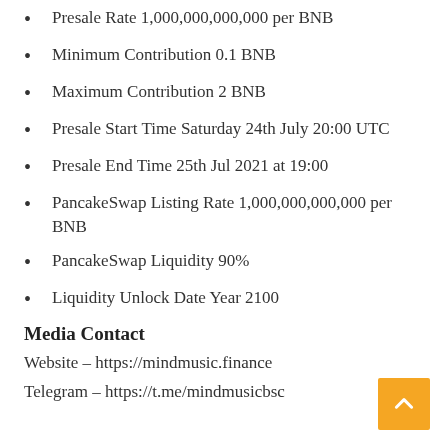Presale Rate 1,000,000,000,000 per BNB
Minimum Contribution 0.1 BNB
Maximum Contribution 2 BNB
Presale Start Time Saturday 24th July 20:00 UTC
Presale End Time 25th Jul 2021 at 19:00
PancakeSwap Listing Rate 1,000,000,000,000 per BNB
PancakeSwap Liquidity 90%
Liquidity Unlock Date Year 2100
Media Contact
Website – https://mindmusic.finance
Telegram – https://t.me/mindmusicbsc